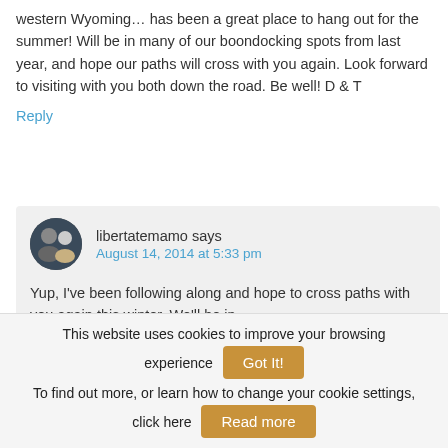western Wyoming… has been a great place to hang out for the summer! Will be in many of our boondocking spots from last year, and hope our paths will cross with you again. Look forward to visiting with you both down the road. Be well! D & T
Reply
libertatemamo says
August 14, 2014 at 5:33 pm
Yup, I've been following along and hope to cross paths with you again this winter. We'll be in
This website uses cookies to improve your browsing experience
Got It!
To find out more, or learn how to change your cookie settings, click here
Read more